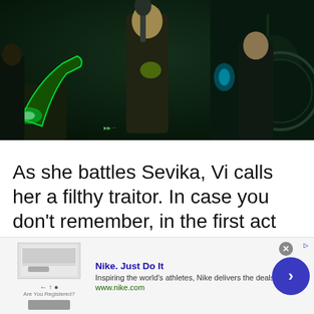[Figure (screenshot): Dark video game scene showing characters in a dimly lit environment. One character holds a green glowing guitar/weapon. Characters appear to be from a cyberpunk-style game (Arcane/League of Legends). Dark green and teal color palette.]
As she battles Sevika, Vi calls her a filthy traitor. In case you don't remember, in the first act she was one of Vander's colleagues th...
[Figure (other): Advertisement banner: Nike. Just Do It. Inspiring the world's athletes, Nike delivers the deals. www.nike.com. With a blue circular arrow button on the right.]